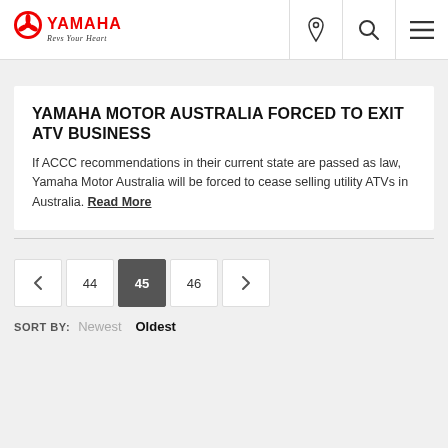[Figure (logo): Yamaha logo with tuning fork emblem and 'Revs Your Heart' tagline]
YAMAHA MOTOR AUSTRALIA FORCED TO EXIT ATV BUSINESS
If ACCC recommendations in their current state are passed as law, Yamaha Motor Australia will be forced to cease selling utility ATVs in Australia. Read More
< 44 45 46 >
SORT BY: Newest Oldest